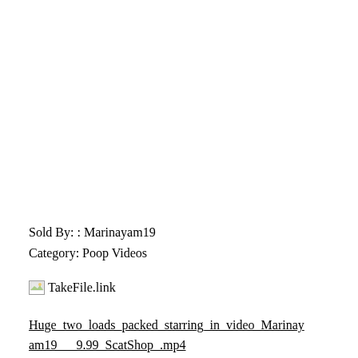Sold By: : Marinayam19
Category: Poop Videos
[Figure (other): Small broken image icon placeholder for TakeFile.link]
TakeFile.link
Huge_two_loads_packed_starring_in_video_Marinayam19___9.99_ScatShop_.mp4